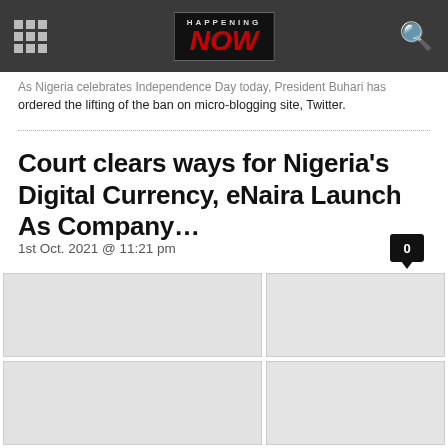Happening Now - news website header navigation
As Nigeria celebrates Independence Day today, President Buhari has ordered the lifting of the ban on micro-blogging site, Twitter.
Court clears ways for Nigeria's Digital Currency, eNaira Launch As Company…
1st Oct. 2021 @ 11:21 pm
[Figure (photo): Four image thumbnails in a 2x2 grid layout, images appear as light grey placeholder boxes]
[Figure (photo): Second image thumbnail placeholder]
[Figure (photo): Third image thumbnail placeholder]
[Figure (photo): Fourth image thumbnail placeholder]